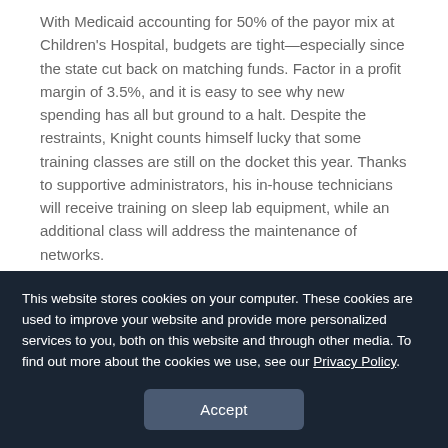With Medicaid accounting for 50% of the payor mix at Children's Hospital, budgets are tight—especially since the state cut back on matching funds. Factor in a profit margin of 3.5%, and it is easy to see why new spending has all but ground to a halt. Despite the restraints, Knight counts himself lucky that some training classes are still on the docket this year. Thanks to supportive administrators, his in-house technicians will receive training on sleep lab equipment, while an additional class will address the maintenance of networks.
In the economically hard-hit region of southeast Michigan, officials at the McLaren Health Care Corp,
This website stores cookies on your computer. These cookies are used to improve your website and provide more personalized services to you, both on this website and through other media. To find out more about the cookies we use, see our Privacy Policy.